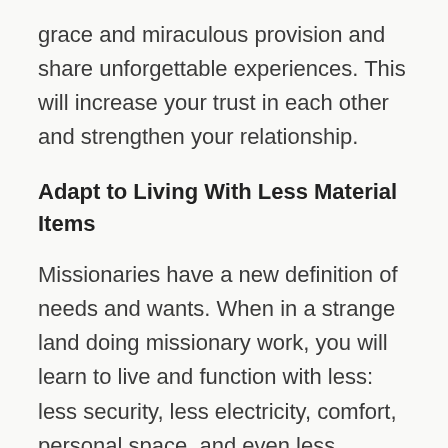grace and miraculous provision and share unforgettable experiences. This will increase your trust in each other and strengthen your relationship.
Adapt to Living With Less Material Items
Missionaries have a new definition of needs and wants. When in a strange land doing missionary work, you will learn to live and function with less: less security, less electricity, comfort, personal space, and even less money. Living with less can be frustrating at